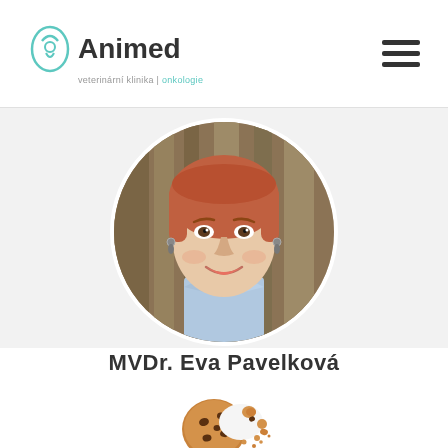Animed veterinární klinika | onkologie
[Figure (photo): Circular portrait photo of a smiling woman with red hair, wearing a light blue collared shirt, against a wooden background. This is a profile photo for MVDr. Eva Pavelková.]
MVDr. Eva Pavelková
[Figure (illustration): Cookie emoji icon representing browser cookies]
THIS SITE USES COOKIES TO PROVIDE SERVICES, CUSTOMIZE ADS, AND ANALYZE TRAFFIC. BY USING THIS SITE YOU AGREE TO THIS. MORE INFORMATION
I AGREE